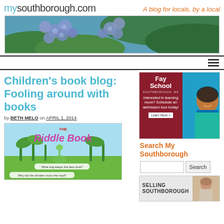mysouthborough.com  —  A blog for locals, by a local
[Figure (photo): Banner photo of blue hydrangea flowers with green leaves background]
[Figure (other): Hamburger menu icon (three horizontal lines)]
Children's book blog: Fooling around with books
by BETH MELO on APRIL 1, 2014
[Figure (photo): Book cover of 'The Riddle Book' showing cartoon characters with speech bubbles asking riddles]
[Figure (photo): Fay School advertisement - Southborough MA - Interested in learning more? Schedule an admission tour today! Learn More >>]
Search My Southborough
[Figure (other): SELLING SOUTHBOROUGH advertisement with woman photo]